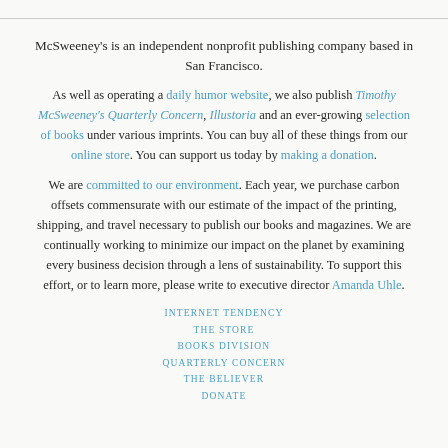McSweeney's is an independent nonprofit publishing company based in San Francisco.
As well as operating a daily humor website, we also publish Timothy McSweeney's Quarterly Concern, Illustoria and an ever-growing selection of books under various imprints. You can buy all of these things from our online store. You can support us today by making a donation.
We are committed to our environment. Each year, we purchase carbon offsets commensurate with our estimate of the impact of the printing, shipping, and travel necessary to publish our books and magazines. We are continually working to minimize our impact on the planet by examining every business decision through a lens of sustainability. To support this effort, or to learn more, please write to executive director Amanda Uhle.
INTERNET TENDENCY
THE STORE
BOOKS DIVISION
QUARTERLY CONCERN
THE BELIEVER
DONATE